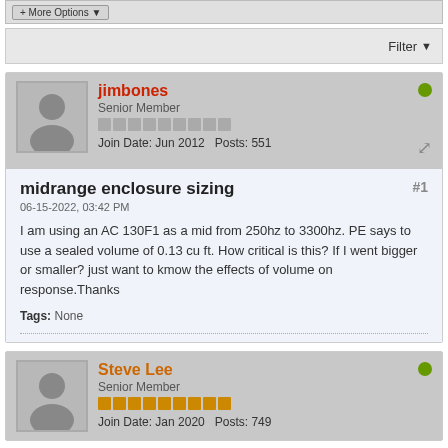+ More Options
Filter
jimbones
Senior Member
Join Date: Jun 2012   Posts: 551
midrange enclosure sizing
06-15-2022, 03:42 PM
I am using an AC 130F1 as a mid from 250hz to 3300hz. PE says to use a sealed volume of 0.13 cu ft. How critical is this? If I went bigger or smaller? just want to kmow the effects of volume on response.Thanks
Tags: None
Steve Lee
Senior Member
Join Date: Jan 2020   Posts: 749